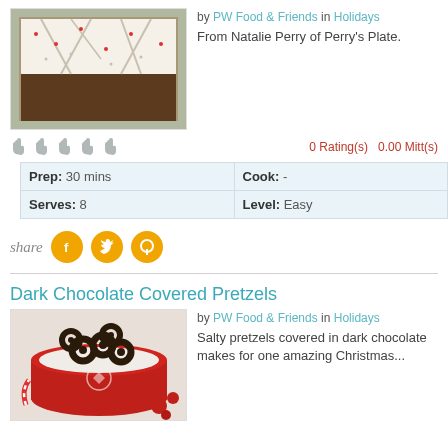[Figure (photo): White chocolate peppermint bark broken into pieces on a baking tray, covered with red and white sprinkles]
by PW Food & Friends in Holidays
From Natalie Perry of Perry's Plate.
0 Rating(s)   0.00 Mitt(s)
| Prep: 30 mins | Cook: - |
| Serves: 8 | Level: Easy |
share
Dark Chocolate Covered Pretzels
[Figure (photo): Dark chocolate covered pretzels in a red tin with white snowflake design, surrounded by candy canes and red ornaments]
by PW Food & Friends in Holidays
Salty pretzels covered in dark chocolate makes for one amazing Christmas...